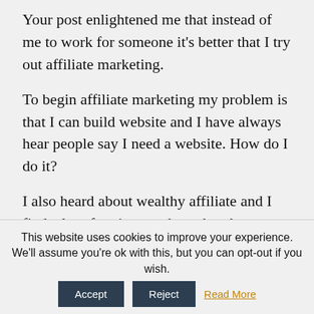Your post enlightened me that instead of me to work for someone it's better that I try out affiliate marketing.
To begin affiliate marketing my problem is that I can build website and I have always hear people say I need a website. How do I do it?
I also heard about wealthy affiliate and I find a lot of review on them that they are legit.
This website uses cookies to improve your experience. We'll assume you're ok with this, but you can opt-out if you wish. Accept Reject Read More